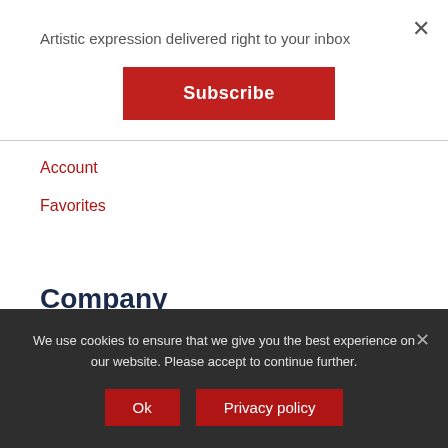Artistic expression delivered right to your inbox
Subscribe
Account
Favorites
Company
We use cookies to ensure that we give you the best experience on our website. Please accept to continue further.
Ok
Privacy policy